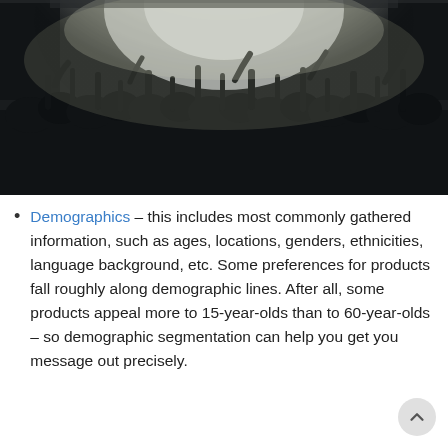[Figure (photo): A black and white photo of a large concert crowd with hands raised, facing a brightly lit stage with white light beams and fog.]
Demographics – this includes most commonly gathered information, such as ages, locations, genders, ethnicities, language background, etc. Some preferences for products fall roughly along demographic lines. After all, some products appeal more to 15-year-olds than to 60-year-olds – so demographic segmentation can help you get your message out precisely.